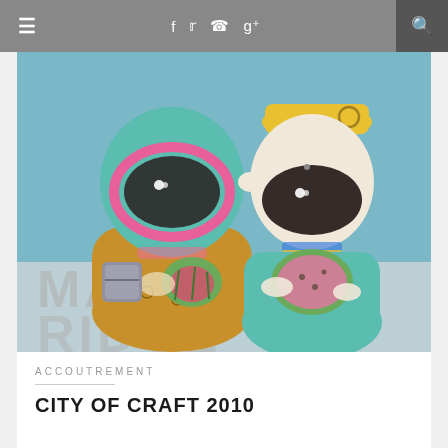≡  f  t  ⊕  g+  🔍
[Figure (photo): Two colorful painted ceramic figurines with large eyes, one teal with pink goggles holding a watermelon slice, one white and yellow with a teal skirt also holding a watermelon slice, placed in front of blurred text reading 'MAPLE RIDGE']
ACCOUTREMENT
CITY OF CRAFT 2010